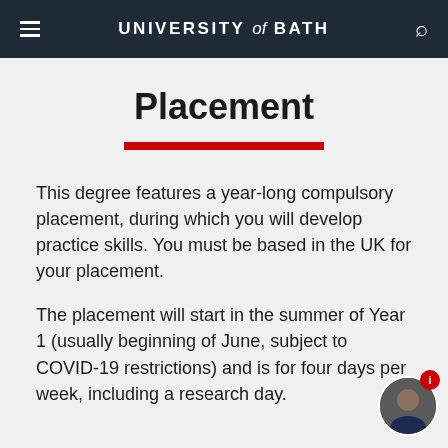UNIVERSITY of BATH
Placement
This degree features a year-long compulsory placement, during which you will develop practice skills. You must be based in the UK for your placement.
The placement will start in the summer of Year 1 (usually beginning of June, subject to COVID-19 restrictions) and is for four days per week, including a research day.